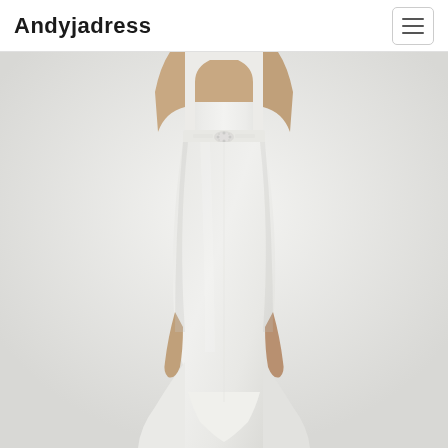Andyjadress
[Figure (photo): A model wearing a fitted ivory/white mermaid-style wedding gown with a jeweled belt detail at the waist. The dress has a long train that fans out at the bottom. The background is light gray/white.]